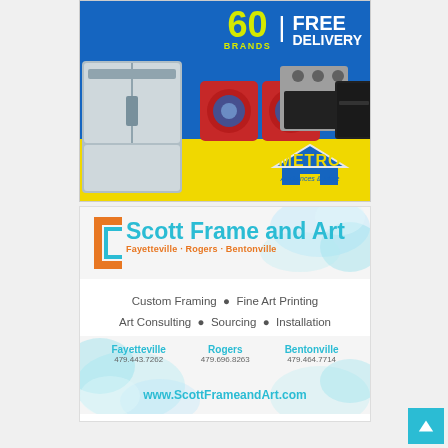[Figure (illustration): Metro Appliances & More advertisement. Blue background with appliances (refrigerator, washer, dryer, range, dishwasher). Text: '60 BRANDS | FREE DELIVERY'. Metro Appliances & More logo with house icon on yellow background at bottom.]
[Figure (illustration): Scott Frame and Art advertisement. Logo with bracket design, teal company name. Tagline: Fayetteville · Rogers · Bentonville. Services: Custom Framing • Fine Art Printing, Art Consulting • Sourcing • Installation. Location phone numbers and website www.ScottFrameandArt.com]